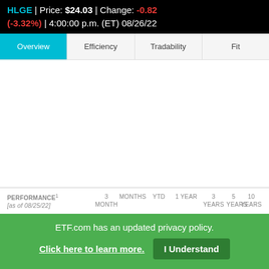HLGE | Price: $24.03 | Change: -0.82 (-3.32%) | 4:00:00 p.m. (ET) 08/26/22
| Overview | Efficiency | Tradability | Fit |
| --- | --- | --- | --- |
PERFORMANCE1 [as of 08/25/22]   3 MONTHS   MONTHS   YTD   1 YEAR   3 YEARS   5 YEARS   10 YEARS
ETF.com has an updated privacy policy. Click here to learn more. I Understand